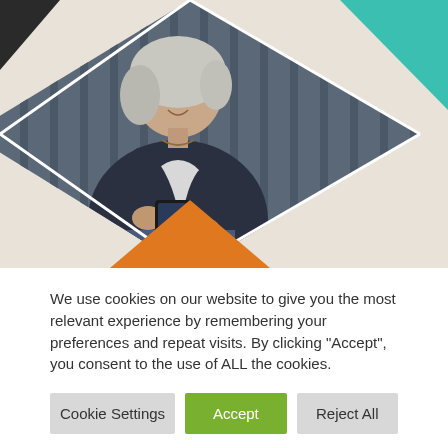[Figure (photo): A woman with white/grey hair sitting against a blue door, smiling and looking at a smartphone. The image is framed in a diamond/geometric shape with teal triangle in top-right, orange triangle in bottom-left, and a beige background on the right side.]
We use cookies on our website to give you the most relevant experience by remembering your preferences and repeat visits. By clicking "Accept", you consent to the use of ALL the cookies.